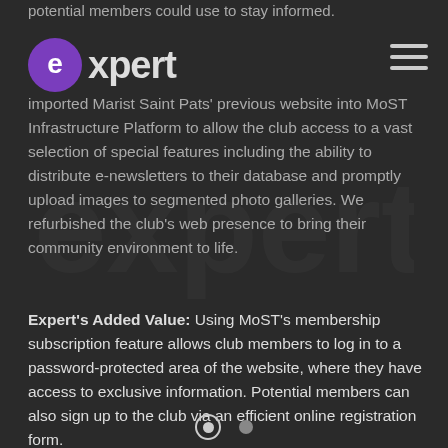potential members could use to stay informed.
[Figure (logo): Expert logo - stylized 'e' icon in purple circle followed by 'expert' text in white/grey on dark background]
...imported Marist Saint Pats' previous website into MoST Infrastructure Platform to allow the club access to a vast selection of special features including the ability to distribute e-newsletters to their database and promptly upload images to segmented photo galleries. We refurbished the club's web presence to bring their community environment to life.
Expert's Added Value: Using MoST's membership subscription feature allows club members to log in to a password-protected area of the website, where they have access to exclusive information. Potential members can also sign up to the club via an efficient online registration form.
We have also worked with MSP to design physical brochure-ware to maintain consistency with the look and